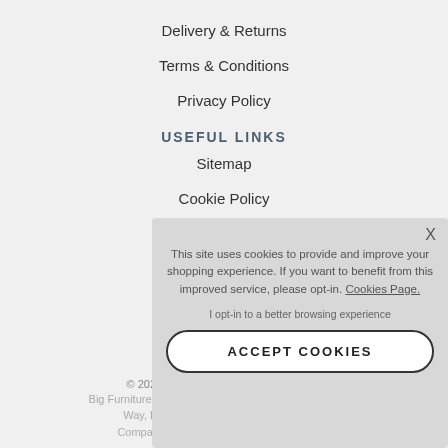Delivery & Returns
Terms & Conditions
Privacy Policy
USEFUL LINKS
Sitemap
Cookie Policy
Gift Vouchers
© 2022 B...
Big Furniture Warehouse...
Way, Burnl...
Company Re...
This site uses cookies to provide and improve your shopping experience. If you want to benefit from this improved service, please opt-in. Cookies Page.

I opt-in to a better browsing experience

ACCEPT COOKIES